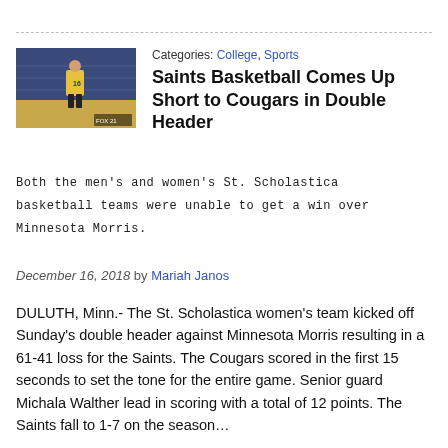[Figure (photo): Basketball player wearing yellow jersey number 16 on an indoor basketball court]
Categories: College, Sports
Saints Basketball Comes Up Short to Cougars in Double Header
Both the men's and women's St. Scholastica basketball teams were unable to get a win over Minnesota Morris.
December 16, 2018 by Mariah Janos
DULUTH, Minn.- The St. Scholastica women's team kicked off Sunday's double header against Minnesota Morris resulting in a 61-41 loss for the Saints. The Cougars scored in the first 15 seconds to set the tone for the entire game. Senior guard Michala Walther lead in scoring with a total of 12 points. The Saints fall to 1-7 on the season…